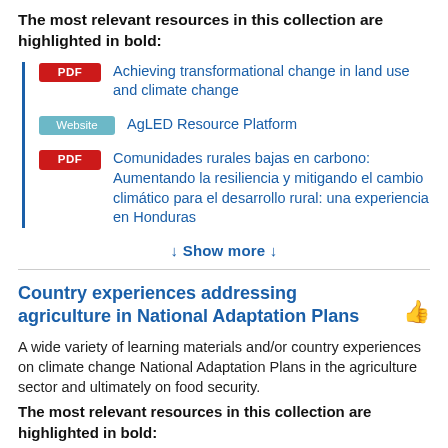The most relevant resources in this collection are highlighted in bold:
PDF  Achieving transformational change in land use and climate change
Website  AgLED Resource Platform
PDF  Comunidades rurales bajas en carbono: Aumentando la resiliencia y mitigando el cambio climático para el desarrollo rural: una experiencia en Honduras
↓ Show more ↓
Country experiences addressing agriculture in National Adaptation Plans
A wide variety of learning materials and/or country experiences on climate change National Adaptation Plans in the agriculture sector and ultimately on food security.
The most relevant resources in this collection are highlighted in bold: